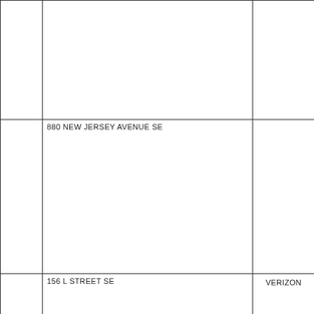|  |  |
| 880 NEW JERSEY AVENUE SE |  |
| 156 L STREET SE | VERIZON |